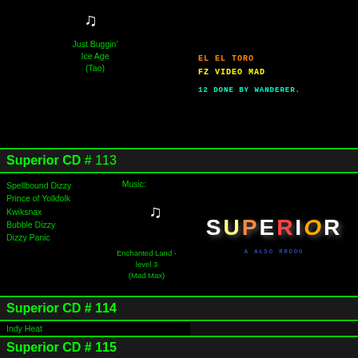Just Buggin'
Ice Age
(Tao)
[Figure (screenshot): Dark screenshot showing retro demo text: EL EL TORO / FZ VIDEO MAD / 12 DONE BY WANDERER.]
Superior CD # 113
Spellbound Dizzy
Prince of Yolkfolk
Kwiksnax
Bubble Dizzy
Dizzy Panic
Music:
Enchanted Land - level 3
(Mad Max)
[Figure (screenshot): Superior logo screenshot with colorful graffiti-style text and bottom blue pixel text]
Superior CD # 114
Indy Heat
Parasol Stars
Music:
Rings of Medusa - title
(Mad Max)
[Figure (screenshot): Superior CD menu screenshot with gold SUPERIOR text, blue line, and retro game listing]
Superior CD # 115